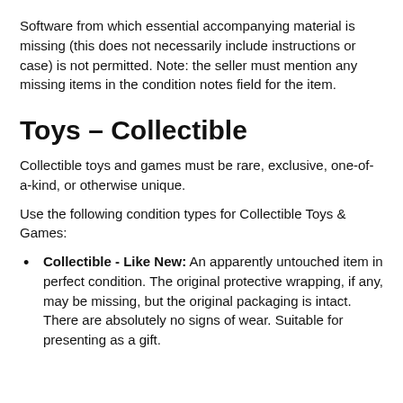Software from which essential accompanying material is missing (this does not necessarily include instructions or case) is not permitted. Note: the seller must mention any missing items in the condition notes field for the item.
Toys – Collectible
Collectible toys and games must be rare, exclusive, one-of-a-kind, or otherwise unique.
Use the following condition types for Collectible Toys & Games:
Collectible - Like New: An apparently untouched item in perfect condition. The original protective wrapping, if any, may be missing, but the original packaging is intact. There are absolutely no signs of wear. Suitable for presenting as a gift.